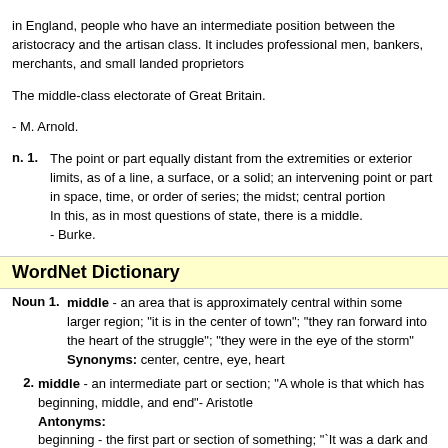in England, people who have an intermediate position between the aristocracy and the artisan class. It includes professional men, bankers, merchants, and small landed proprietors The middle-class electorate of Great Britain. - M. Arnold.
n. 1. The point or part equally distant from the extremities or exterior limits, as of a line, a surface, or a solid; an intervening point or part in space, time, or order of series; the midst; central portion In this, as in most questions of state, there is a middle. - Burke.
WordNet Dictionary
Noun 1. middle - an area that is approximately central within some larger region; "it is in the center of town"; "they ran forward into the heart of the struggle"; "they were in the eye of the storm" Synonyms: center, centre, eye, heart
2. middle - an intermediate part or section; "A whole is that which has beginning, middle, and end"- Aristotle Antonyms: beginning - the first part or section of something; "`It was a dark and stormy night' is a hackneyed beginning for a story"